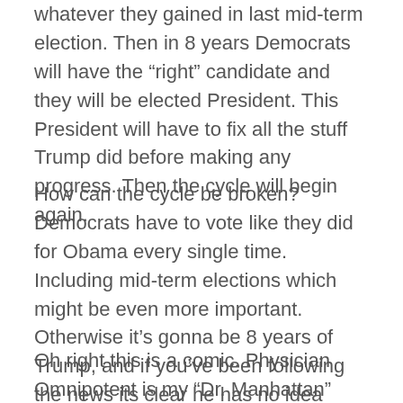whatever they gained in last mid-term election. Then in 8 years Democrats will have the “right” candidate and they will be elected President. This President will have to fix all the stuff Trump did before making any progress. Then the cycle will begin again.
How can the cycle be broken? Democrats have to vote like they did for Obama every single time. Including mid-term elections which might be even more important. Otherwise it’s gonna be 8 years of Trump, and if you’ve been following the news its clear he has no idea what he’s doing.
Oh right this is a comic. Physician Omnipotent is my “Dr. Manhattan” character. This whole thing is kind